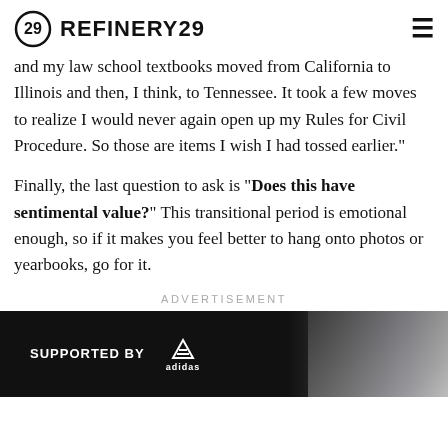REFINERY29
and my law school textbooks moved from California to Illinois and then, I think, to Tennessee. It took a few moves to realize I would never again open up my Rules for Civil Procedure. So those are items I wish I had tossed earlier."
Finally, the last question to ask is "Does this have sentimental value?" This transitional period is emotional enough, so if it makes you feel better to hang onto photos or yearbooks, go for it.
ADVERTISEMENT
[Figure (other): Adidas advertisement banner with 'SUPPORTED BY adidas' text and athlete photo on dark background]